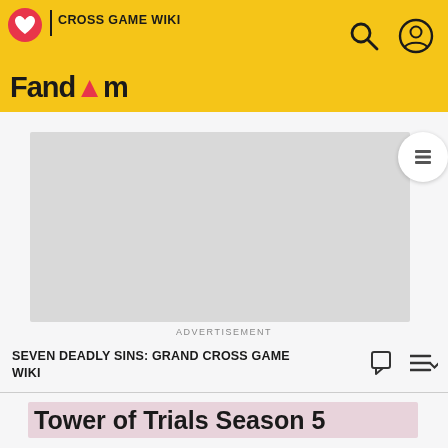CROSS GAME WIKI | Fandom
[Figure (screenshot): Advertisement placeholder (gray rectangle)]
ADVERTISEMENT
SEVEN DEADLY SINS: GRAND CROSS GAME WIKI
Tower of Trials Season 5
Published May 24 2021
[Figure (photo): Bottom image placeholder (gray rectangle)]